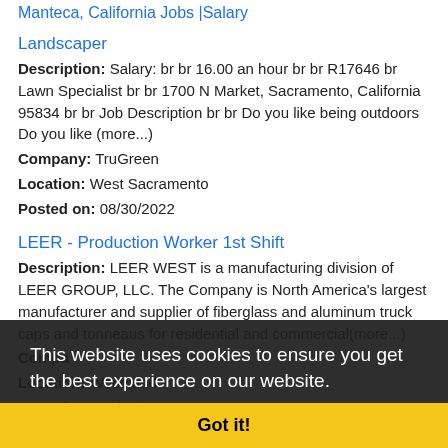Manteca, California Jobs |Salary
Landscaper
Description: Salary: br br 16.00 an hour br br R17646 br Lawn Specialist br br 1700 N Market, Sacramento, California 95834 br br Job Description br br Do you like being outdoors Do you like (more...)
Company: TruGreen
Location: West Sacramento
Posted on: 08/30/2022
LEER - Production Worker 1st Shift
Description: LEER WEST is a manufacturing division of LEER GROUP, LLC. The Company is North America's largest manufacturer and supplier of fiberglass and aluminum truck caps and tonneaus for residential and commercial(more...)
Company:
Location: Woodland
Posted on: 08/30/2022
Landscaping Specialist
Description: Salary: br br 16.00 an hour br br R17646 br Lawn Specialist br br 1700 N Market, Sacramento, California 95834 br br Job Description br br Do you like being outdoors Do you like
Cookie banner: This website uses cookies to ensure you get the best experience on our website. Learn more  Got it!